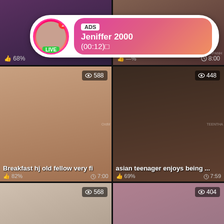[Figure (screenshot): Video thumbnail grid from adult video website with ad overlay. Top row: two partially visible thumbnails. Middle row left: video thumbnail titled 'Breakfast hj old fellow very fi...' with 82% rating and 7:00 duration, 588 views. Middle row right: 'asian teenager enjoys being ...' with 69% rating and 7:59 duration, 448 views. Bottom row: two more thumbnails with 568 and 404 views. Ad overlay shows Jeniffer 2000 LIVE with timer (00:12).]